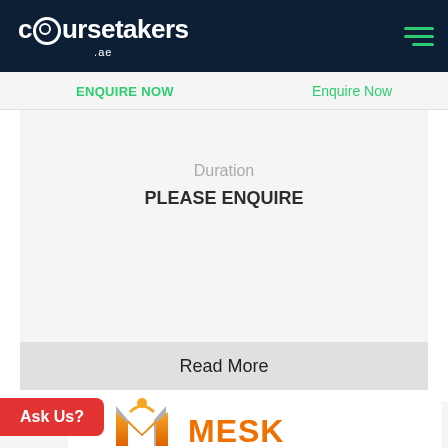[Figure (logo): Coursetakers.ae website header logo with hamburger menu icon]
ENQUIRE NOW
Enquire Now
Duration
PLEASE ENQUIRE
Read More
Ask Us?
[Figure (logo): MESK training institute logo with orange M shape and figure with arms raised]